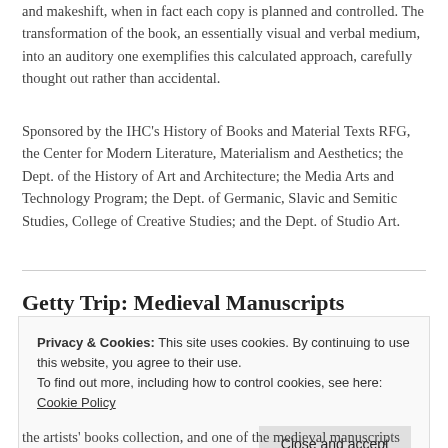and makeshift, when in fact each copy is planned and controlled. The transformation of the book, an essentially visual and verbal medium, into an auditory one exemplifies this calculated approach, carefully thought out rather than accidental.
Sponsored by the IHC's History of Books and Material Texts RFG, the Center for Modern Literature, Materialism and Aesthetics; the Dept. of the History of Art and Architecture; the Media Arts and Technology Program; the Dept. of Germanic, Slavic and Semitic Studies, College of Creative Studies; and the Dept. of Studio Art.
Getty Trip: Medieval Manuscripts
Privacy & Cookies: This site uses cookies. By continuing to use this website, you agree to their use.
To find out more, including how to control cookies, see here: Cookie Policy
the artists' books collection, and one of the medieval manuscripts